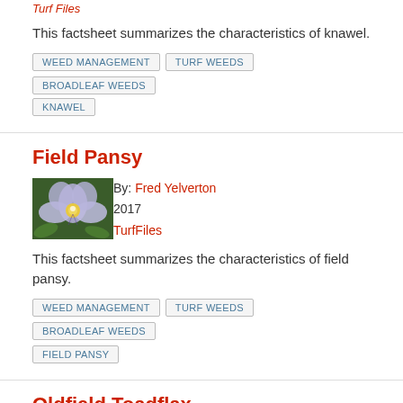Turf Files
This factsheet summarizes the characteristics of knawel.
WEED MANAGEMENT
TURF WEEDS
BROADLEAF WEEDS
KNAWEL
Field Pansy
[Figure (photo): Close-up photo of a field pansy flower with light purple petals and yellow center]
By: Fred Yelverton
2017
TurfFiles
This factsheet summarizes the characteristics of field pansy.
WEED MANAGEMENT
TURF WEEDS
BROADLEAF WEEDS
FIELD PANSY
Oldfield Toadflax
[Figure (photo): Photo of oldfield toadflax plant]
By: Fred Yelverton